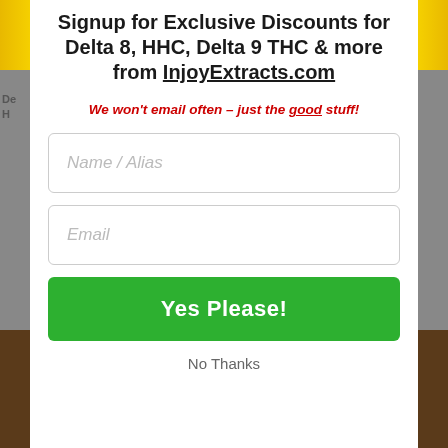Signup for Exclusive Discounts for Delta 8, HHC, Delta 9 THC & more from InjoyExtracts.com
We won't email often - just the good stuff!
Name / Alias
Email
Yes Please!
No Thanks